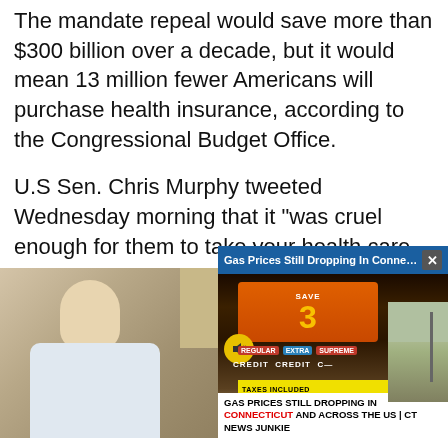The mandate repeal would save more than $300 billion over a decade, but it would mean 13 million fewer Americans will purchase health insurance, according to the Congressional Budget Office.
U.S Sen. Chris Murphy tweeted Wednesday morning that it “was cruel enough for them to take your health care to get back at Obama. Downright sinister to take your health care to fund tax cuts for b[illionaires.”]
[Figure (screenshot): A video overlay popup showing a gas station sign with 'Gas Prices Still Dropping In Connec...' as the title bar, featuring an orange sign with the number 3, fuel type labels (REGULAR, EXTRA, SUPREME, CREDIT), and a lower caption bar reading 'GAS PRICES STILL DROPPING IN CONNECTICUT AND ACROSS THE US | CT NEWS JUNKIE'. Below is a partial image of a man seated, presumably Sen. Chris Murphy.]